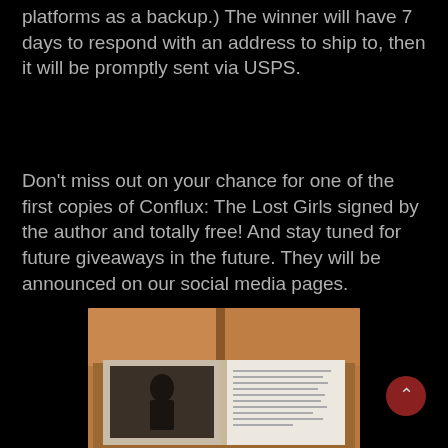platforms as a backup.) The winner will have 7 days to respond with an address to ship to, then it will be promptly sent via USPS.
Don't miss out on your chance for one of the first copies of Conflux: The Lost Girls signed by the author and totally free! And stay tuned for future giveaways in the future. They will be announced on our social media pages.
[Figure (photo): Photo of an open book inside a cardboard shipping box, showing a black and white image on the left page and text on the right page.]